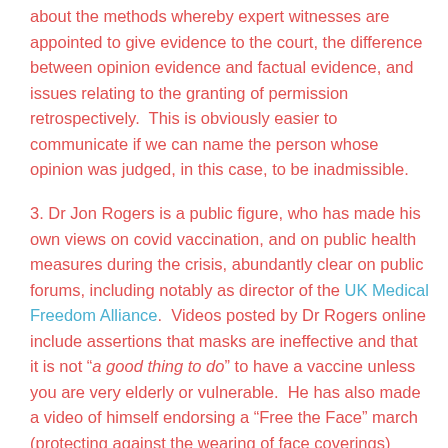about the methods whereby expert witnesses are appointed to give evidence to the court, the difference between opinion evidence and factual evidence, and issues relating to the granting of permission retrospectively.  This is obviously easier to communicate if we can name the person whose opinion was judged, in this case, to be inadmissible.
3. Dr Jon Rogers is a public figure, who has made his own views on covid vaccination, and on public health measures during the crisis, abundantly clear on public forums, including notably as director of the UK Medical Freedom Alliance.  Videos posted by Dr Rogers online include assertions that masks are ineffective and that it is not "a good thing to do" to have a vaccine unless you are very elderly or vulnerable.  He has also made a video of himself endorsing a "Free the Face" march (protecting against the wearing of face coverings)